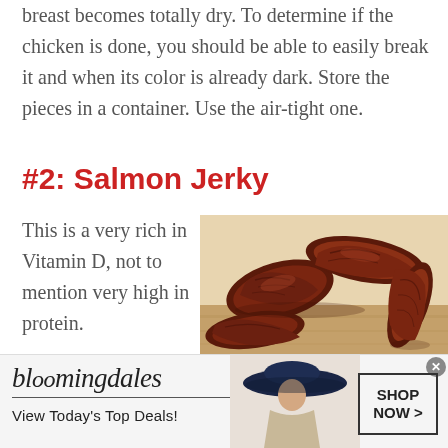breast becomes totally dry. To determine if the chicken is done, you should be able to easily break it and when its color is already dark. Store the pieces in a container. Use the air-tight one.
#2: Salmon Jerky
This is a very rich in Vitamin D, not to mention very high in protein.
[Figure (photo): Photo of dark brown dried salmon jerky pieces arranged on a wooden surface]
[Figure (photo): Bloomingdale's advertisement banner with logo, 'View Today's Top Deals!' text, woman in wide-brim hat, and 'SHOP NOW >' button]